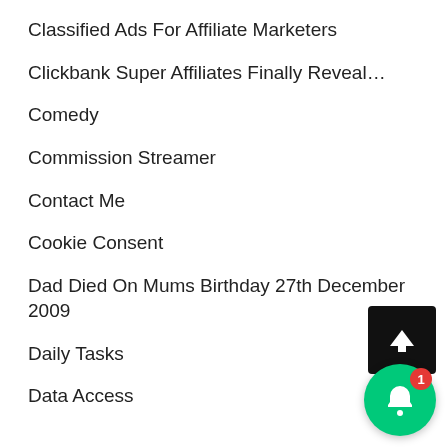Classified Ads For Affiliate Marketers
Clickbank Super Affiliates Finally Reveal…
Comedy
Commission Streamer
Contact Me
Cookie Consent
Dad Died On Mums Birthday 27th December 2009
Daily Tasks
Data Access